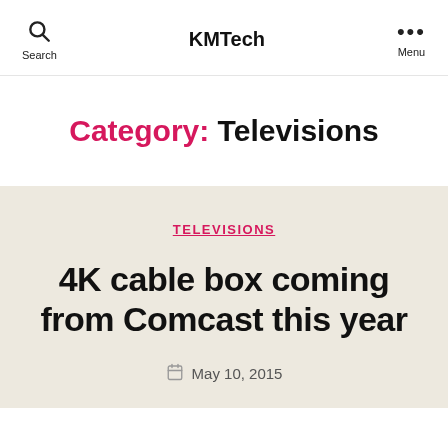Search  KMTech  Menu
Category: Televisions
TELEVISIONS
4K cable box coming from Comcast this year
May 10, 2015